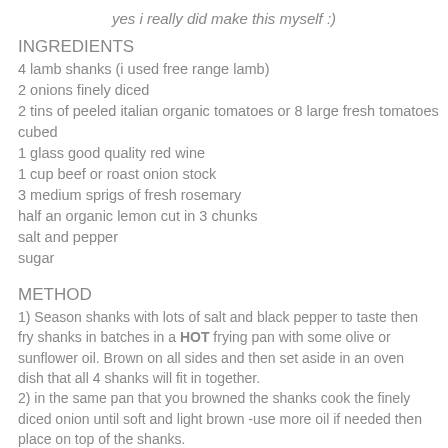yes i really did make this myself :)
INGREDIENTS
4 lamb shanks (i used free range lamb)
2 onions finely diced
2 tins of peeled italian organic tomatoes or 8 large fresh tomatoes cubed
1 glass good quality red wine
1 cup beef or roast onion stock
3 medium sprigs of fresh rosemary
half an organic lemon cut in 3 chunks
salt and pepper
sugar
METHOD
1) Season shanks with lots of salt and black pepper to taste then fry shanks in batches in a HOT frying pan with some olive or sunflower oil. Brown on all sides and then set aside in an oven dish that all 4 shanks will fit in together.
2) in the same pan that you browned the shanks cook the finely diced onion until soft and light brown -use more oil if needed then place on top of the shanks.